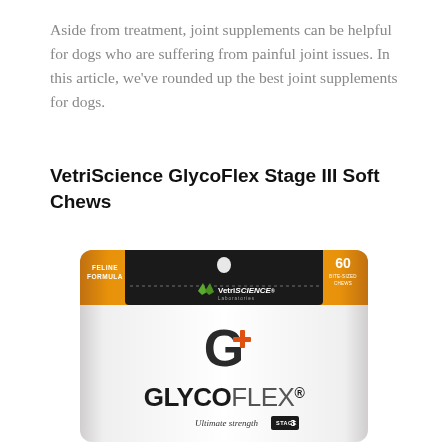Aside from treatment, joint supplements can be helpful for dogs who are suffering from painful joint issues. In this article, we've rounded up the best joint supplements for dogs.
VetriScience GlycoFlex Stage III Soft Chews
[Figure (photo): Product photo of VetriScience GlycoFlex Stage III Soft Chews bag. White pouch with orange and black header section. Shows 'FELINE FORMULA' on left, '60 BITE-SIZED CHEWS' on right, VetriSCIENCE Laboratories logo in center, large G+ logo, GLYCOFLEX brand name in large letters, and 'Ultimate strength STAGE 3' at the bottom.]